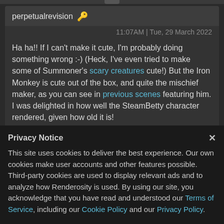perpetualrevision
11:07AM | Tue, 29 March 2022
Ha ha!! If I can't make it cute, I'm probably doing something wrong :-) (Heck, I've even tried to make some of Summoner's scary creatures cute!) But the Iron Monkey is cute out of the box, and quite the mischief maker, as you can see in previous scenes featuring him. I was delighted in how well the SteamBetty character rendered, given how old it is!
Thank you for the DOF tip! I think in this case I
Privacy Notice
This site uses cookies to deliver the best experience. Our own cookies make user accounts and other features possible. Third-party cookies are used to display relevant ads and to analyze how Renderosity is used. By using our site, you acknowledge that you have read and understood our Terms of Service, including our Cookie Policy and our Privacy Policy.